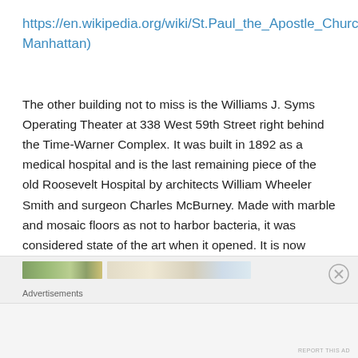https://en.wikipedia.org/wiki/St.Paul_the_Apostle_Church(Manhattan)
The other building not to miss is the Williams J. Syms Operating Theater at 338 West 59th Street right behind the Time-Warner Complex. It was built in 1892 as a medical hospital and is the last remaining piece of the old Roosevelt Hospital by architects William Wheeler Smith and surgeon Charles McBurney. Made with marble and mosaic floors as not to harbor bacteria, it was considered state of the art when it opened. It is now being renovated for a school (Wiki and HDR Org).
[Figure (other): Advertisement banner with image strip and close button, labeled Advertisements]